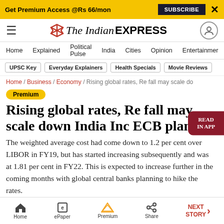Get Premium Access @Rs 66/mon  SUBSCRIBE  X
The Indian EXPRESS
Home / Explained / Political Pulse / India / Cities / Opinion / Entertainment
UPSC Key | Everyday Explainers | Health Specials | Movie Reviews
Home / Business / Economy / Rising global rates, Re fall may scale do
Premium
Rising global rates, Re fall may scale down India Inc ECB plans
The weighted average cost had come down to 1.2 per cent over LIBOR in FY19, but has started increasing subsequently and was at 1.81 per cent in FY22. This is expected to increase further in the coming months with global central banks planning to hike the rates.
Home  ePaper  Premium  Share  NEXT STORY